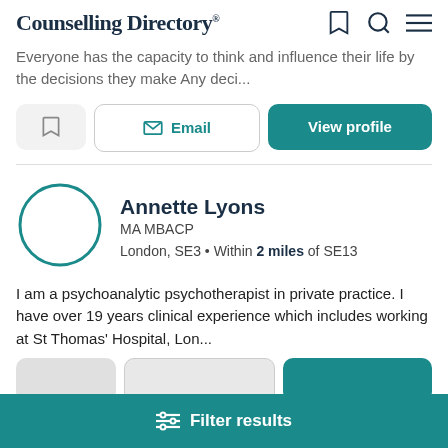Counselling Directory
Everyone has the capacity to think and influence their life by the decisions they make Any deci...
Email  View profile
Annette Lyons
MA MBACP
London, SE3 • Within 2 miles of SE13
I am a psychoanalytic psychotherapist in private practice. I have over 19 years clinical experience which includes working at St Thomas' Hospital, Lon...
Filter results